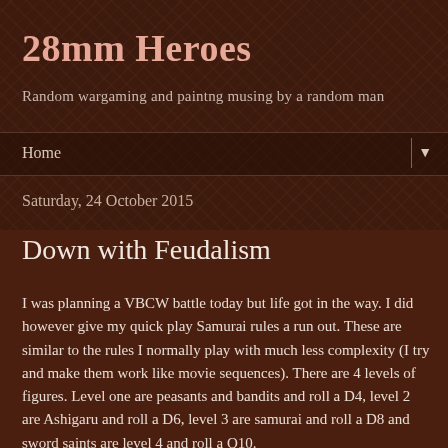28mm Heroes
Random wargaming and paintng musing by a random man
Home ▼
Saturday, 24 October 2015
Down with Feudalism
I was planning a VBCW battle today but life got in the way. I did however give my quick play Samurai rules a run out. These are similar to the rules I normally play with much less complexity (I try and make them work like movie sequences). There are 4 levels of figures. Level one are peasants and bandits and roll a D4, level 2 are Ashigaru and roll a D6, level 3 are samurai and roll a D8 and sword saints are level 4 and roll a Q10.
The battle was 10 levels per side with the local peasantry (8